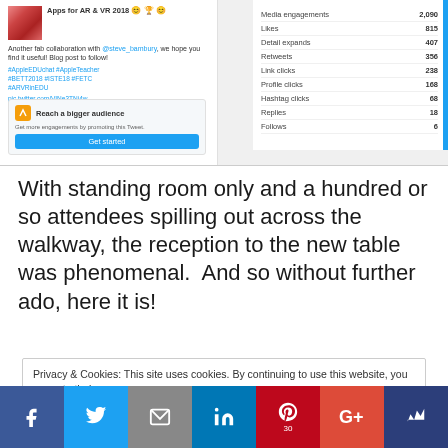[Figure (screenshot): Twitter tweet interface showing a post about 'Apps for AR & VR 2018' with engagement stats panel on the right (Media engagements: 2,090; Likes: 815; Detail expands: 407; Retweets: 356; Link clicks: 238; Profile clicks: 168; Hashtag clicks: 68; Replies: 18; Follows: 6) and a 'Reach a bigger audience' promotion box with Get started button]
With standing room only and a hundred or so attendees spilling out across the walkway, the reception to the new table was phenomenal.  And so without further ado, here it is!
Privacy & Cookies: This site uses cookies. By continuing to use this website, you agree to their use.
To find out more, including how to control cookies, see here: Cookie Policy
[Figure (infographic): Social sharing bar with icons for Facebook, Twitter, Email, LinkedIn, Pinterest (30), Google+, and a crown/other icon]